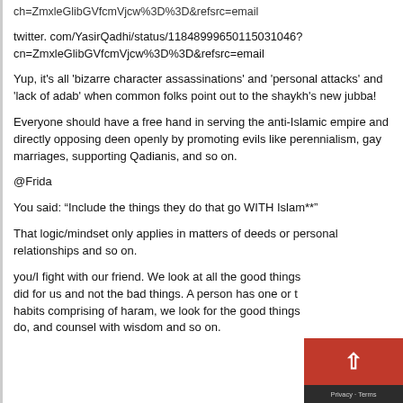ch=ZmxleGlibGVfcmVjcw%3D%3D&refsrc=email
twitter. com/YasirQadhi/status/11848999650115031046?cn=ZmxleGlibGVfcmVjcw%3D%3D&refsrc=email
Yup, it's all 'bizarre character assassinations' and 'personal attacks' and 'lack of adab' when common folks point out to the shaykh's new jubba!
Everyone should have a free hand in serving the anti-Islamic empire and directly opposing deen openly by promoting evils like perennialism, gay marriages, supporting Qadianis, and so on.
@Frida
You said: “Include the things they do that go WITH Islam**”
That logic/mindset only applies in matters of deeds or personal relationships and so on.
you/I fight with our friend. We look at all the good things did for us and not the bad things. A person has one or t habits comprising of haram, we look for the good things do, and counsel with wisdom and so on.